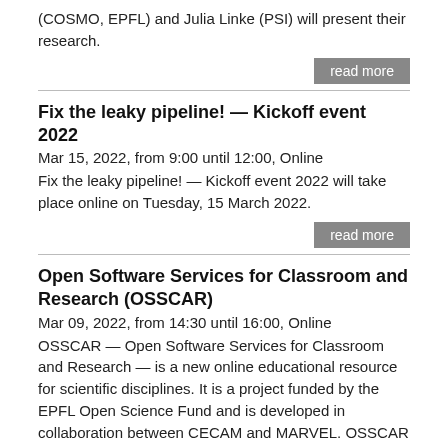(COSMO, EPFL) and Julia Linke (PSI) will present their research.
read more
Fix the leaky pipeline! — Kickoff event 2022
Mar 15, 2022, from 9:00 until 12:00, Online
Fix the leaky pipeline! — Kickoff event 2022 will take place online on Tuesday, 15 March 2022.
read more
Open Software Services for Classroom and Research (OSSCAR)
Mar 09, 2022, from 14:30 until 16:00, Online
OSSCAR — Open Software Services for Classroom and Research — is a new online educational resource for scientific disciplines. It is a project funded by the EPFL Open Science Fund and is developed in collaboration between CECAM and MARVEL. OSSCAR provides a platform to develop, deploy, access and share material for teaching and learning in the form of web applications. Content relates to specific